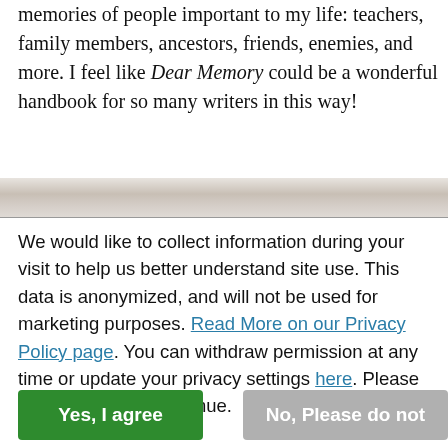memories of people important to my life: teachers, family members, ancestors, friends, enemies, and more. I feel like Dear Memory could be a wonderful handbook for so many writers in this way!
[Figure (photo): Partial view of a book or journal with beige/tan pages, cropped at the top of a divider section]
We would like to collect information during your visit to help us better understand site use. This data is anonymized, and will not be used for marketing purposes. Read More on our Privacy Policy page. You can withdraw permission at any time or update your privacy settings here. Please choose below to continue.